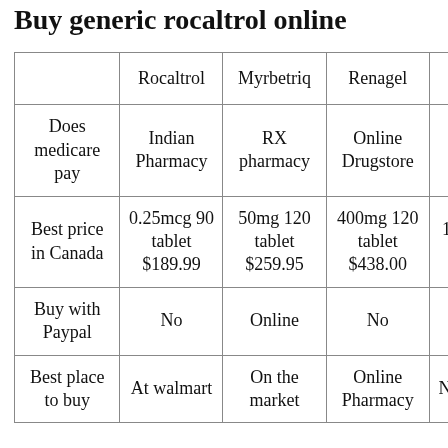Buy generic rocaltrol online
|  | Rocaltrol | Myrbetriq | Renagel | Vesi... |
| --- | --- | --- | --- | --- |
| Does medicare pay | Indian Pharmacy | RX pharmacy | Online Drugstore | N... |
| Best price in Canada | 0.25mcg 90 tablet $189.99 | 50mg 120 tablet $259.95 | 400mg 120 tablet $438.00 | 10m... tab... $4... |
| Buy with Paypal | No | Online | No | Y... |
| Best place to buy | At walmart | On the market | Online Pharmacy | Nea... phar... |